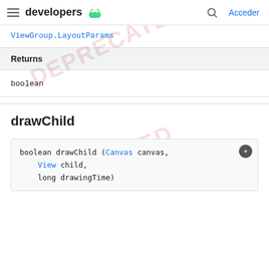developers [android logo] | Acceder
ViewGroup.LayoutParams
| Returns |
| --- |
| boolean |
drawChild
boolean drawChild (Canvas canvas,
    View child,
    long drawingTime)